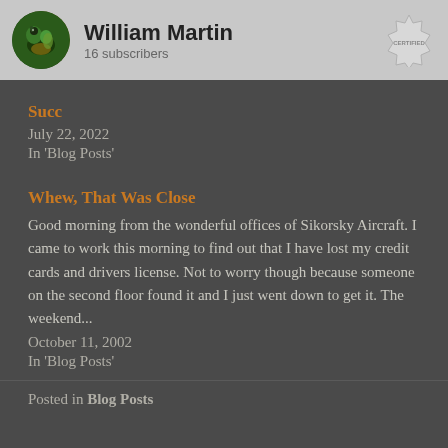[Figure (screenshot): Blog profile banner showing a circular avatar with a bird/peacock image, the name 'William Martin', '16 subscribers', and a certified badge on the right]
Succ
July 22, 2022
In 'Blog Posts'
Whew, That Was Close
Good morning from the wonderful offices of Sikorsky Aircraft. I came to work this morning to find out that I have lost my credit cards and drivers license. Not to worry though because someone on the second floor found it and I just went down to get it. The weekend...
October 11, 2002
In 'Blog Posts'
Posted in Blog Posts